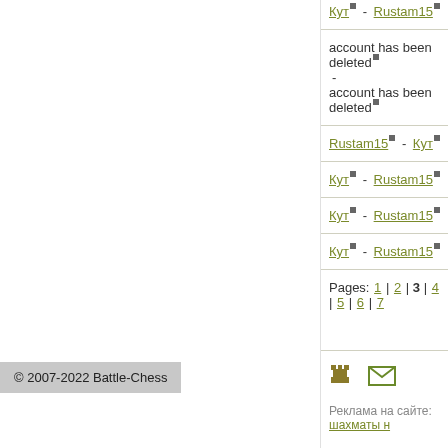Кут - Rustam15
account has been deleted
-
account has been deleted
Rustam15 - Кут
Кут - Rustam15
Кут - Rustam15
Кут - Rustam15
Pages: 1 | 2 | 3 | 4 | 5 | 6 | 7
[Figure (other): Chess rook icon and mail envelope icon]
Реклама на сайте: шахматы н
© 2007-2022 Battle-Chess